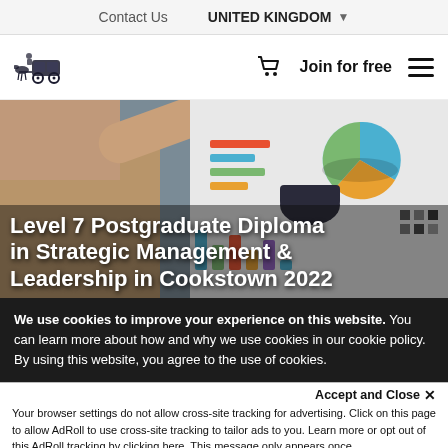Contact Us   UNITED KINGDOM
[Figure (logo): Stagecoach/carriage logo illustration]
Join for free
[Figure (photo): Person pointing at a board showing charts and graphs]
Level 7 Postgraduate Diploma in Strategic Management & Leadership in Cookstown 2022
We use cookies to improve your experience on this website. You can learn more about how and why we use cookies in our cookie policy. By using this website, you agree to the use of cookies.
Accept and Close ×
Your browser settings do not allow cross-site tracking for advertising. Click on this page to allow AdRoll to use cross-site tracking to tailor ads to you. Learn more or opt out of this AdRoll tracking by clicking here. This message only appears once.